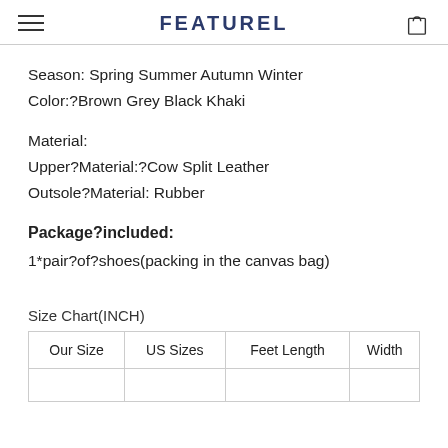FEATUREL
Season: Spring Summer Autumn Winter
Color:?Brown Grey Black Khaki
Material:
Upper?Material:?Cow Split Leather
Outsole?Material: Rubber
Package?included:
1*pair?of?shoes(packing in the canvas bag)
Size Chart(INCH)
| Our Size | US Sizes | Feet Length | Width |
| --- | --- | --- | --- |
|  |  |  |  |